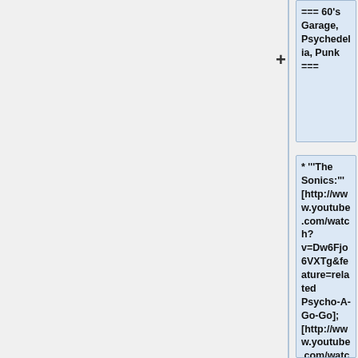=== 60's Garage, Psychedelia, Punk ===
* '''The Sonics:''' [http://www.youtube.com/watch?v=Dw6Fjo6VXTg&feature=related Psycho-A-Go-Go]; [http://www.youtube.com/watch?v=f7Nffq0bOgE&feature=related Strychnine]; [http://www.youtube.com/watch?v=39S_kwNb4rq